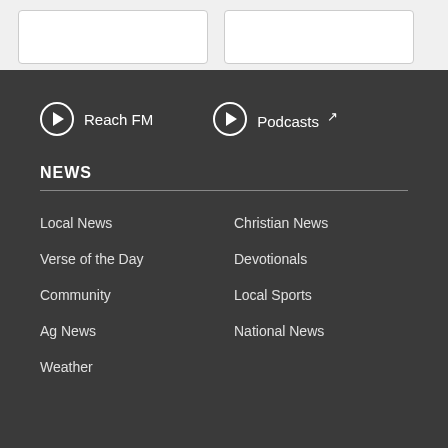[Figure (other): Two white card/box elements on light gray background at top of page]
▶ Reach FM
▶ Podcasts ↗
NEWS
Local News
Christian News
Verse of the Day
Devotionals
Community
Local Sports
Ag News
National News
Weather